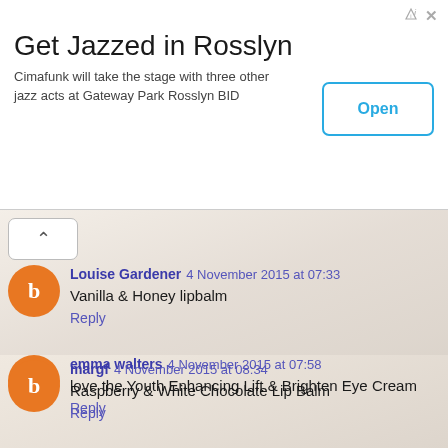[Figure (screenshot): Ad banner: Get Jazzed in Rosslyn with Open button]
Get Jazzed in Rosslyn
Cimafunk will take the stage with three other jazz acts at Gateway Park Rosslyn BID
Open
Louise Gardener 4 November 2015 at 07:33
Vanilla & Honey lipbalm
Reply
emma walters 4 November 2015 at 07:58
love the Youth Enhancing Lift & Brighten Eye Cream
Reply
margf 4 November 2015 at 08:34
Raspberry & White Chocolate Lip Balm
Reply